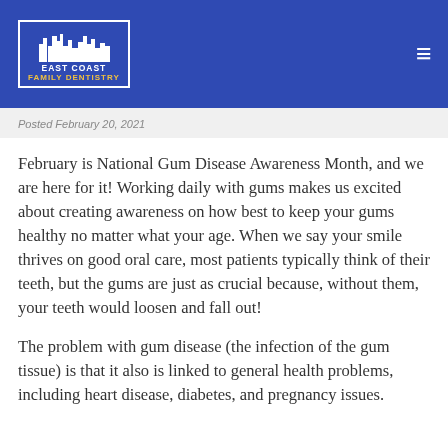East Coast Family Dentistry
Posted February 20, 2021
February is National Gum Disease Awareness Month, and we are here for it! Working daily with gums makes us excited about creating awareness on how best to keep your gums healthy no matter what your age. When we say your smile thrives on good oral care, most patients typically think of their teeth, but the gums are just as crucial because, without them, your teeth would loosen and fall out!
The problem with gum disease (the infection of the gum tissue) is that it also is linked to general health problems, including heart disease, diabetes, and pregnancy issues.